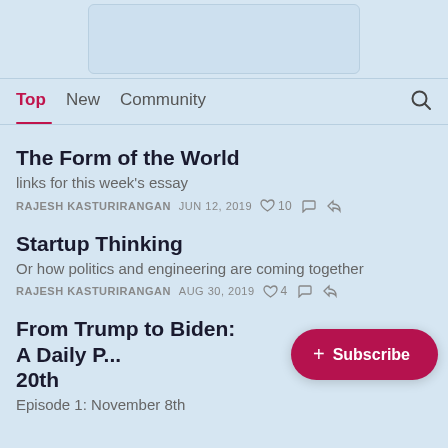[Figure (screenshot): Partial image box / banner at top of page]
Top   New   Community
The Form of the World
links for this week's essay
RAJESH KASTURIRANGAN   JUN 12, 2019   ♡ 10
Startup Thinking
Or how politics and engineering are coming together
RAJESH KASTURIRANGAN   AUG 30, 2019   ♡ 4
From Trump to Biden: A Daily P... 20th
Episode 1: November 8th
+ Subscribe